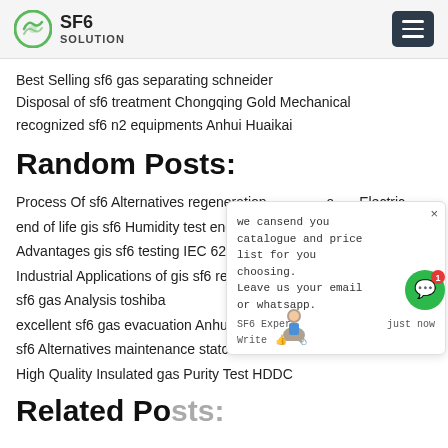SF6 SOLUTION
Best Selling sf6 gas separating schneider
Disposal of sf6 treatment Chongqing Gold Mechanical
recognized sf6 n2 equipments Anhui Huaikai
Random Posts:
Process Of sf6 Alternatives regeneration a[...] Electric
end of life gis sf6 Humidity test ene[...]
Advantages gis sf6 testing IEC 62271
Industrial Applications of gis sf6 recovery for GIL
sf6 gas Analysis toshiba
excellent sf6 gas evacuation Anhui Huaikai
sf6 Alternatives maintenance statcom
High Quality Insulated gas Purity Test HDDC
Related Posts: